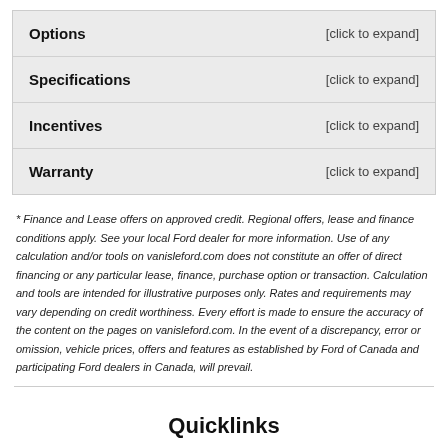Options
Specifications
Incentives
Warranty
* Finance and Lease offers on approved credit. Regional offers, lease and finance conditions apply. See your local Ford dealer for more information. Use of any calculation and/or tools on vanisleford.com does not constitute an offer of direct financing or any particular lease, finance, purchase option or transaction. Calculation and tools are intended for illustrative purposes only. Rates and requirements may vary depending on credit worthiness. Every effort is made to ensure the accuracy of the content on the pages on vanisleford.com. In the event of a discrepancy, error or omission, vehicle prices, offers and features as established by Ford of Canada and participating Ford dealers in Canada, will prevail.
Quicklinks
New